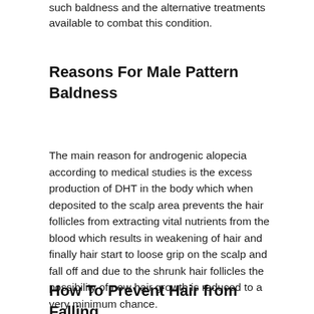such baldness and the alternative treatments available to combat this condition.
Reasons For Male Pattern Baldness
The main reason for androgenic alopecia according to medical studies is the excess production of DHT in the body which when deposited to the scalp area prevents the hair follicles from extracting vital nutrients from the blood which results in weakening of hair and finally hair start to loose grip on the scalp and fall off and due to the shrunk hair follicles the possibility of new hair growth is reduced to a very minimum chance.
How To Prevent Hair from Falling